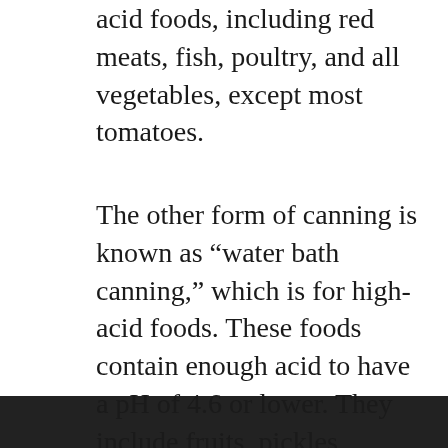acid foods, including red meats, fish, poultry, and all vegetables, except most tomatoes.
The other form of canning is known as “water bath canning,” which is for high-acid foods. These foods contain enough acid to have a pH of 4.6 or lower. They include fruits, pickles, sauerkraut, jams, jellies, marmalades, and fruit butters. These high acid foods can be processed safely in a boiling water canner. Usually no additional acid, such as lemon juice or citric acid, needs to be added.